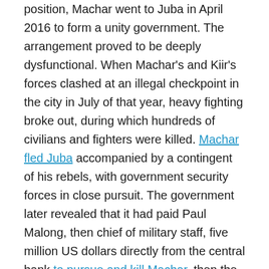position, Machar went to Juba in April 2016 to form a unity government. The arrangement proved to be deeply dysfunctional. When Machar's and Kiir's forces clashed at an illegal checkpoint in the city in July of that year, heavy fighting broke out, during which hundreds of civilians and fighters were killed. Machar fled Juba accompanied by a contingent of his rebels, with government security forces in close pursuit. The government later revealed that it had paid Paul Malong, then chief of military staff, five million US dollars directly from the central bank to pursue and kill Machar, then the country's first vice president.
International and regional reactions to these events were underwhelming. Beyond verbal criticism, there were neither repercussions for Kiir's reorganization of state borders, nor for the July 2016 crisis. In addition